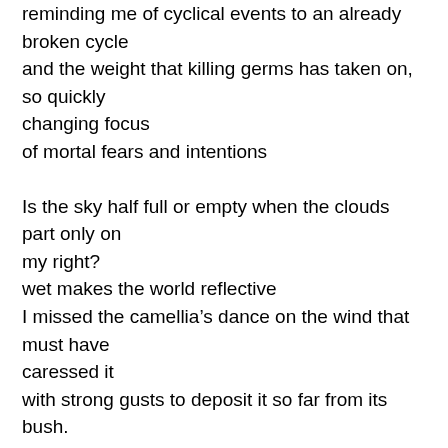reminding me of cyclical events to an already broken cycle and the weight that killing germs has taken on, so quickly changing focus
of mortal fears and intentions

Is the sky half full or empty when the clouds part only on my right?
wet makes the world reflective
I missed the camellia's dance on the wind that must have caressed it
with strong gusts to deposit it so far from its bush.
Here, alone in loveliness, swirls of gaudy pink and white, showing off its golden sex, it punctuates the pavement
But I can imagine the rhythm which lingers
in the metronomic drips of the accumulated leftover rain
microscopic twirlers within the droplets, like the camellia
her shocking cotton-candy petals betray her; she wants to